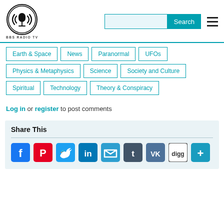[Figure (logo): BBS Radio TV logo - circular black and white microphone emblem with BBS RADIO TV text below]
Earth & Space
News
Paranormal
UFOs
Physics & Metaphysics
Science
Society and Culture
Spiritual
Technology
Theory & Conspiracy
Log in or register to post comments
Share This
[Figure (infographic): Social share icons: Facebook, Pinterest, Twitter, LinkedIn, Email, Tumblr, VK, Digg, More]